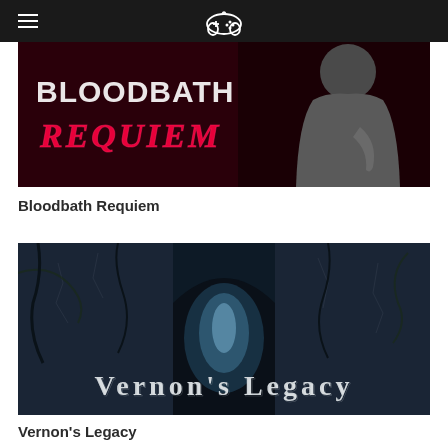≡ [game controller icon]
[Figure (illustration): Bloodbath Requiem game banner: dark background with hooded figure, text 'BLOODBATH REQUIEM' in white and red stylized lettering]
Bloodbath Requiem
[Figure (illustration): Vernon's Legacy game banner: dark blue atmospheric dungeon/crypt scene with stone archway and eerie light, text 'VERNON'S LEGACY' in aged white serif lettering]
Vernon's Legacy